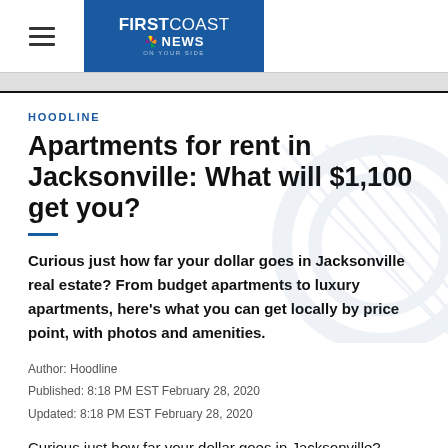FIRST COAST NEWS
HOODLINE
Apartments for rent in Jacksonville: What will $1,100 get you?
Curious just how far your dollar goes in Jacksonville real estate? From budget apartments to luxury apartments, here's what you can get locally by price point, with photos and amenities.
Author: Hoodline
Published: 8:18 PM EST February 28, 2020
Updated: 8:18 PM EST February 28, 2020
Curious just how far your dollar goes in Jacksonville?